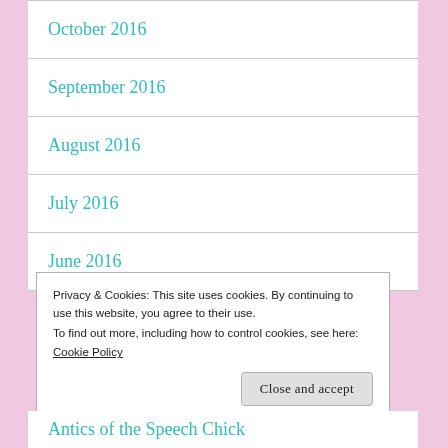October 2016
September 2016
August 2016
July 2016
June 2016
Privacy & Cookies: This site uses cookies. By continuing to use this website, you agree to their use.
To find out more, including how to control cookies, see here: Cookie Policy
Close and accept
Antics of the Speech Chick